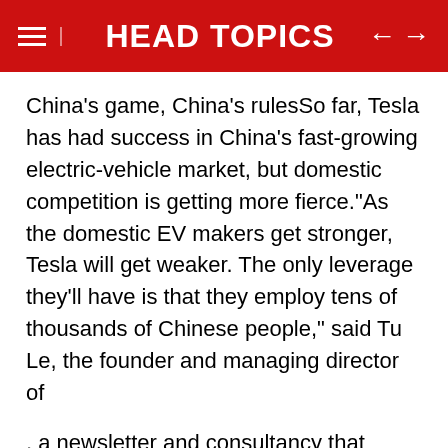HEAD TOPICS
China's game, China's rulesSo far, Tesla has had success in China's fast-growing electric-vehicle market, but domestic competition is getting more fierce."As the domestic EV makers get stronger, Tesla will get weaker. The only leverage they'll have is that they employ tens of thousands of Chinese people," said Tu Le, the founder and managing director of
, a newsletter and consultancy that provides analysis of the Chinese electric-vehicle market.Over the past year, Tesla's models